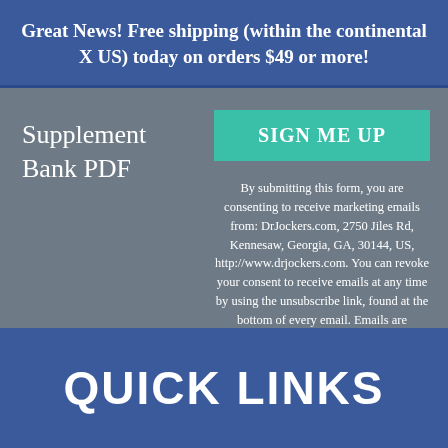Great News! Free shipping (within the continental X US) today on orders $49 or more!
Supplement Bank PDF
SIGN ME UP
By submitting this form, you are consenting to receive marketing emails from: DrJockers.com, 2750 Jiles Rd, Kennesaw, Georgia, GA, 30144, US, http://www.drjockers.com. You can revoke your consent to receive emails at any time by using the unsubscribe link, found at the bottom of every email. Emails are
QUICK LINKS